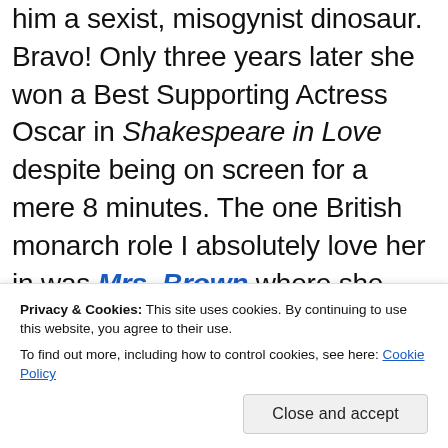him a sexist, misogynist dinosaur. Bravo! Only three years later she won a Best Supporting Actress Oscar in Shakespeare in Love despite being on screen for a mere 8 minutes. The one British monarch role I absolutely love her in was Mrs. Brown where she played an older Queen Victoria who found friendship in her servant Mr. Brown as she was mourning her husband's death.
Privacy & Cookies: This site uses cookies. By continuing to use this website, you agree to their use. To find out more, including how to control cookies, see here: Cookie Policy